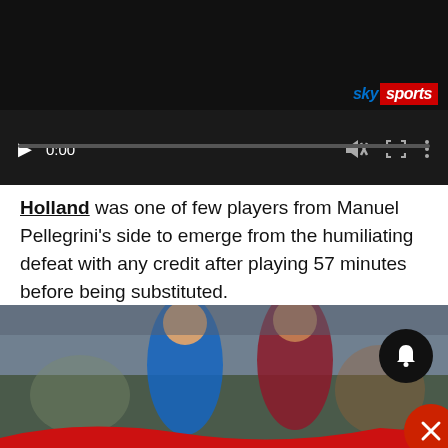[Figure (screenshot): Sky Sports video player showing paused video at 0:00 with dark background, playback controls including play button, progress bar, mute, fullscreen, and more options icons. Sky Sports logo visible bottom right of player.]
Holland was one of few players from Manuel Pellegrini's side to emerge from the humiliating defeat with any credit after playing 57 minutes before being substituted.
[Figure (photo): Two football players competing for the ball during a Premier League match. The player on the left wears a blue Everton kit with SportPesa sponsor. The player on the right wears a claret West Ham kit. Both wear Umbro shirts. A notification bell icon overlay appears bottom right.]